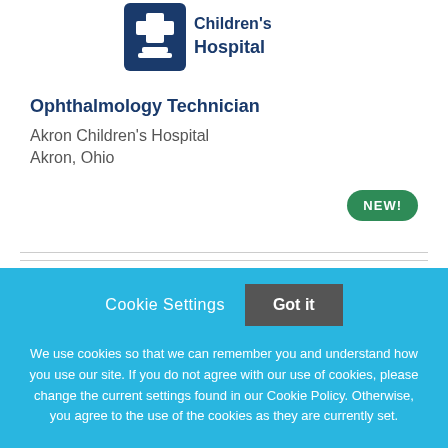[Figure (logo): Akron Children's Hospital logo — blue shield/cup icon with white cross, text 'Children's Hospital' in blue]
Ophthalmology Technician
Akron Children's Hospital
Akron, Ohio
NEW!
Cookie Settings  Got it
We use cookies so that we can remember you and understand how you use our site. If you do not agree with our use of cookies, please change the current settings found in our Cookie Policy. Otherwise, you agree to the use of the cookies as they are currently set.